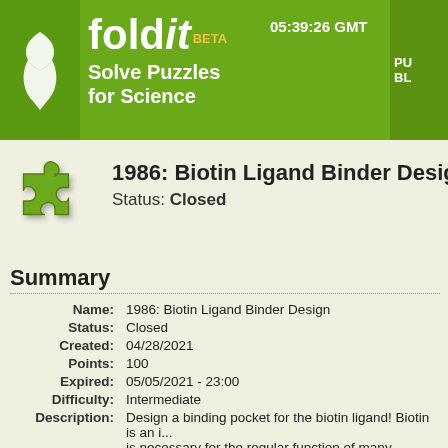fold it BETA — Solve Puzzles for Science — 05:39:26 GMT
1986: Biotin Ligand Binder Design
Status: Closed
Summary
| Field | Value |
| --- | --- |
| Name: | 1986: Biotin Ligand Binder Design |
| Status: | Closed |
| Created: | 04/28/2021 |
| Points: | 100 |
| Expired: | 05/05/2021 - 23:00 |
| Difficulty: | Intermediate |
| Description: | Design a binding pocket for the biotin ligand! Biotin is an i... is necessary for the regular function of many metabolic pr... protein called streptavidin binds to the biotin ligand extrem... streptavidin pair is well known for being one of the tightest... |